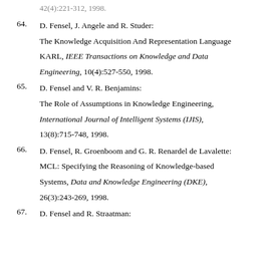64. D. Fensel, J. Angele and R. Studer: The Knowledge Acquisition And Representation Language KARL, IEEE Transactions on Knowledge and Data Engineering, 10(4):527-550, 1998.
65. D. Fensel and V. R. Benjamins: The Role of Assumptions in Knowledge Engineering, International Journal of Intelligent Systems (IJIS), 13(8):715-748, 1998.
66. D. Fensel, R. Groenboom and G. R. Renardel de Lavalette: MCL: Specifying the Reasoning of Knowledge-based Systems, Data and Knowledge Engineering (DKE), 26(3):243-269, 1998.
67. D. Fensel and R. Straatman: